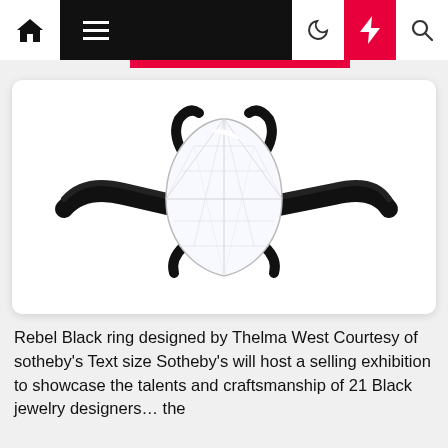Navigation bar with home, menu, moon, lightning, and search icons
[Figure (photo): Rebel Black ring with a pear-shaped diamond set in a black metal band with claw prongs, displayed on a white background inside a rounded card.]
Rebel Black ring designed by Thelma West Courtesy of sotheby's Text size Sotheby's will host a selling exhibition to showcase the talents and craftsmanship of 21 Black jewelry designers… the